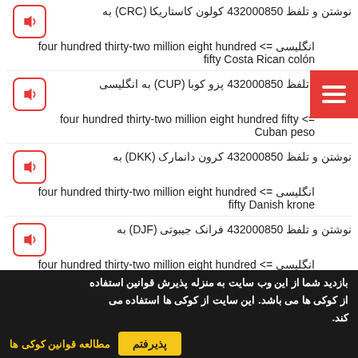نوشتن و تلفظ 432000850 کولون کاستاریکا (CRC) به انگلیسی <= four hundred thirty-two million eight hundred fifty Costa Rican colón
نوشتن و تلفظ 432000850 پزو کوبا (CUP) به انگلیسی <= four hundred thirty-two million eight hundred fifty Cuban peso
نوشتن و تلفظ 432000850 کرون دانمارک (DKK) به انگلیسی <= four hundred thirty-two million eight hundred fifty Danish krone
نوشتن و تلفظ 432000850 فرانک جیبوتی (DJF) به انگلیسی <= four hundred thirty-two million eight hundred fifty Djiboutian franc
بازدید شما از این وب سایت به منزله پذیرش قوانین استفاده از کوکی ها می باشد. این سایت از کوکی ها استفاده می کند. مطالعه قوانین کوکی ها | پذیرفتم